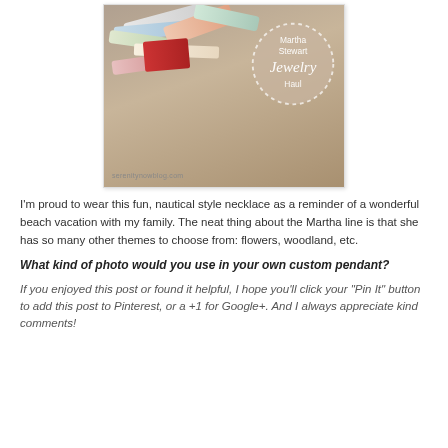[Figure (photo): Photo of a cardboard box filled with Martha Stewart jewelry/craft supply items, with a circular dotted-border overlay reading 'Martha Stewart Jewelry Haul' in script. Watermark reads serenitynowblog.com.]
I'm proud to wear this fun, nautical style necklace as a reminder of a wonderful beach vacation with my family. The neat thing about the Martha line is that she has so many other themes to choose from: flowers, woodland, etc.
What kind of photo would you use in your own custom pendant?
If you enjoyed this post or found it helpful, I hope you'll click your "Pin It" button to add this post to Pinterest, or a +1 for Google+. And I always appreciate kind comments!